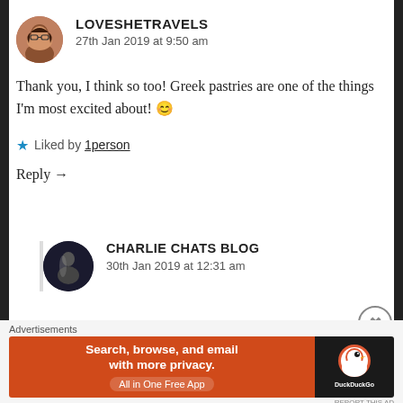LOVESHETRAVELS
27th Jan 2019 at 9:50 am
Thank you, I think so too! Greek pastries are one of the things I'm most excited about! 😊
★ Liked by 1person
Reply →
CHARLIE CHATS BLOG
30th Jan 2019 at 12:31 am
Advertisements
Search, browse, and email with more privacy. All in One Free App